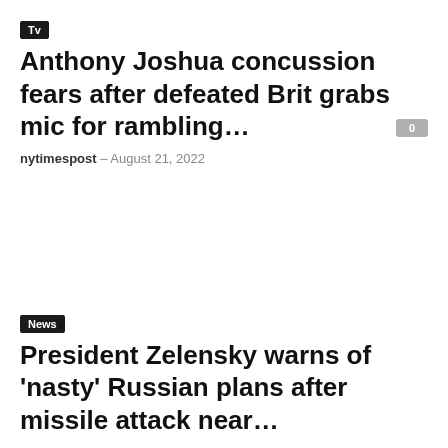Tv
Anthony Joshua concussion fears after defeated Brit grabs mic for rambling…
nytimespost – August 21, 2022
News
President Zelensky warns of 'nasty' Russian plans after missile attack near…